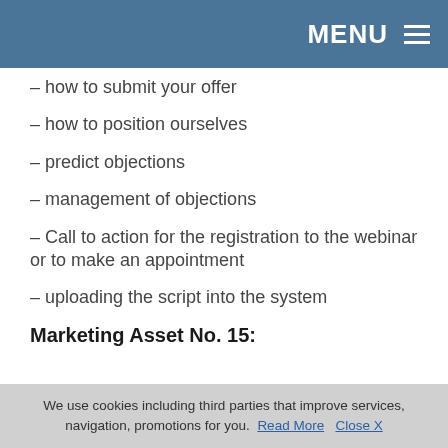MENU
– how to submit your offer
– how to position ourselves
– predict objections
– management of objections
– Call to action for the registration to the webinar or to make an appointment
– uploading the script into the system
Marketing Asset No. 15:
We use cookies including third parties that improve services, navigation, promotions for you. Read More  Close X